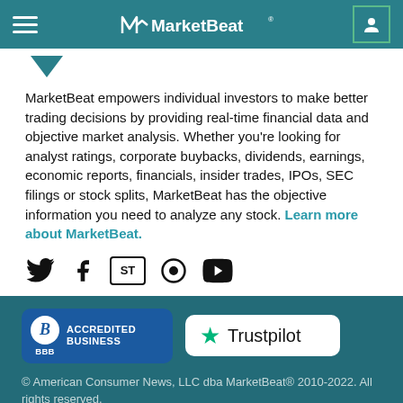MarketBeat
[Figure (illustration): Downward pointing arrow/chevron icon in teal color]
MarketBeat empowers individual investors to make better trading decisions by providing real-time financial data and objective market analysis. Whether you're looking for analyst ratings, corporate buybacks, dividends, earnings, economic reports, financials, insider trades, IPOs, SEC filings or stock splits, MarketBeat has the objective information you need to analyze any stock. Learn more about MarketBeat.
[Figure (illustration): Social media icons: Twitter, Facebook, StockTwits, Podcast/audio, YouTube]
[Figure (logo): BBB Accredited Business badge and Trustpilot badge]
© American Consumer News, LLC dba MarketBeat® 2010-2022. All rights reserved. 326 E 8th St #105, Sioux Falls, SD 57103 |